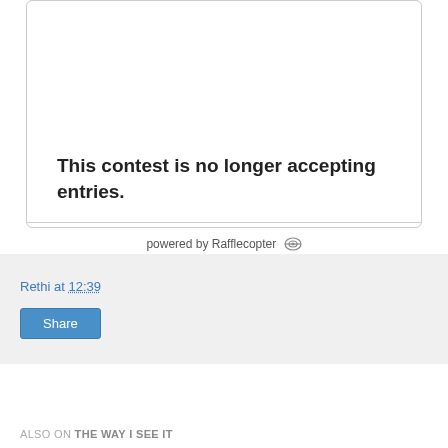International.
This contest is no longer accepting entries.
powered by Rafflecopter
Rethi at 12:39
Share
ALSO ON THE WAY I SEE IT